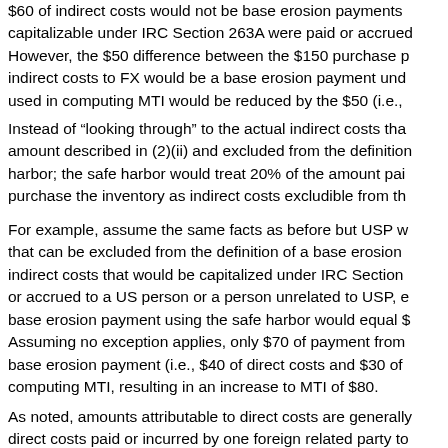$60 of indirect costs would not be base erosion payments capitalizable under IRC Section 263A were paid or accrued. However, the $50 difference between the $150 purchase p indirect costs to FX would be a base erosion payment und used in computing MTI would be reduced by the $50 (i.e.,
Instead of "looking through" to the actual indirect costs tha amount described in (2)(ii) and excluded from the definition harbor; the safe harbor would treat 20% of the amount pai purchase the inventory as indirect costs excludible from th
For example, assume the same facts as before but USP w that can be excluded from the definition of a base erosion indirect costs that would be capitalized under IRC Section or accrued to a US person or a person unrelated to USP, e base erosion payment using the safe harbor would equal $ Assuming no exception applies, only $70 of payment from base erosion payment (i.e., $40 of direct costs and $30 of computing MTI, resulting in an increase to MTI of $80.
As noted, amounts attributable to direct costs are generally direct costs paid or incurred by one foreign related party to